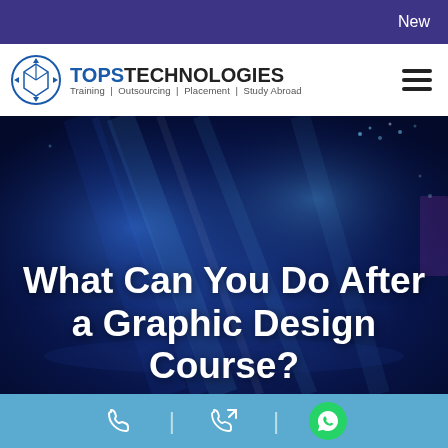New
[Figure (logo): TOPS Technologies logo with cube icon and tagline: Training | Outsourcing | Placement | Study Abroad]
[Figure (photo): Dark blue tech background with light beams and digital elements]
What Can You Do After a Graphic Design Course?
[Figure (infographic): Contact bar with phone icon, callback icon, and WhatsApp green button, separated by vertical dividers]